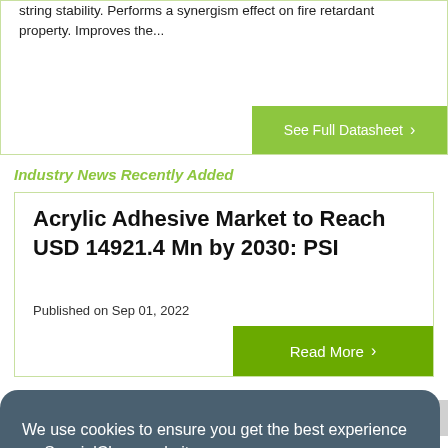string stability. Performs a synergism effect on fire retardant property. Improves the...
See Full Datasheet ›
Industry News Recently Added
Acrylic Adhesive Market to Reach USD 14921.4 Mn by 2030: PSI
Published on Sep 01, 2022
Read More ›
We use cookies to ensure you get the best experience on SpecialChem websites.
Learn more
Got it!
dimethacrylate. It acts as a crosslinking agent for the free radical...
ck to Top